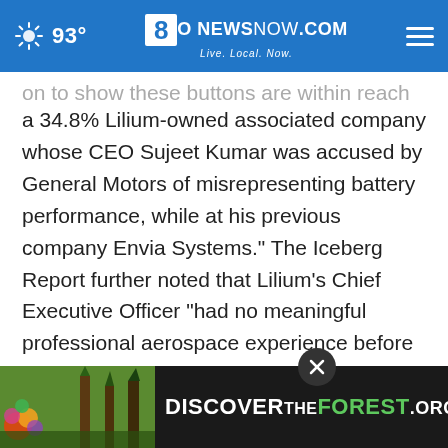8NewsNow.com — Live. Local. Now. | 93°
on to show these buttons are within reach is a 34.8% Lilium-owned associated company whose CEO Sujeet Kumar was accused by General Motors of misrepresenting battery performance, while at his previous company Envia Systems." The Iceberg Report further noted that Lilium's Chief Executive Officer "had no meaningful professional aerospace experience before starting Lilium in 2015" and "estimate[d] that Lilium has about 18 months before
[Figure (screenshot): DiscoverTheForest.org advertisement banner at the bottom of the page with forest imagery, Ad Council badge, and USDA Forest Service logo]